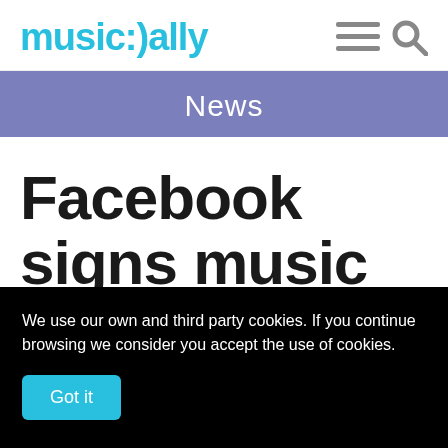music:)ally
News
Facebook signs music deals for Irving Azoff's
We use our own and third party cookies. If you continue browsing we consider you accept the use of cookies.
Got it